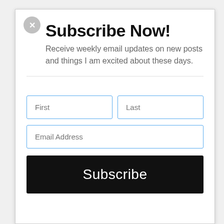Subscribe Now!
Receive weekly email updates on new posts and things I am excited about these days.
[Figure (screenshot): Email subscription form with First, Last, Email Address input fields and a Subscribe button]